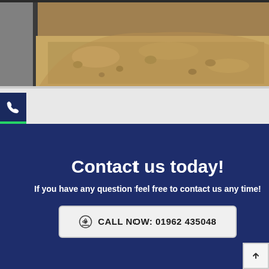[Figure (photo): Close-up photograph of sandy/gravelly soil or aggregate material being poured or piled, with dark background on the left side (possibly a wall or form). Earthy brown tones with visible rocks and granules.]
[Figure (infographic): Sidebar icons: phone icon on dark navy background, WhatsApp icon on green background, envelope/email icon on white background]
Contact us today!
If you have any question feel free to contact us any time!
CALL NOW: 01962 435048